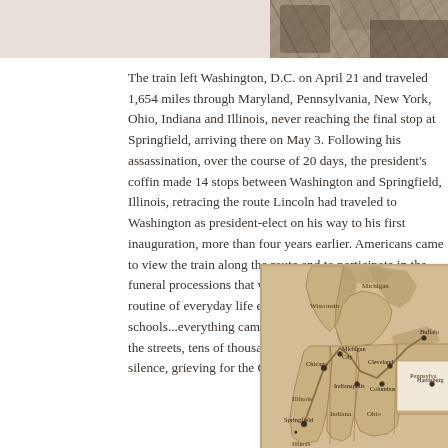[Figure (photo): Black and white historical photograph strip at top of page, showing a partial view of a person or scene with diagonal striped patterns]
The train left Washington, D.C. on April 21 and traveled 1,654 miles through Maryland, Pennsylvania, New York, Ohio, Indiana and Illinois, never reaching the final stop at Springfield, arriving there on May 3. Following his assassination, over the course of 20 days, the president's coffin made 14 stops between Washington and Springfield, Illinois, retracing the route Lincoln had traveled to Washington as president-elect on his way to his first inauguration, more than four years earlier. Americans came to view the train along the route and to participate in the funeral processions that were held at each stop. The normal routine of everyday life ended... stores, businesses, schools...everything came to a standstill. At each city along the streets, tens of thousands of people came and stood in silence, grieving for the Great Emancipator. Most wept.
[Figure (map): Sepia-toned map showing the Midwestern and Eastern United States with cities marked including Springfield (Illinois), Chicago, Michigan City, Indianapolis, Columbus, Cleveland, Buffalo, Harrisburg, and states labeled including Wisconsin, Michigan, Indiana, Ohio, Pennsylvania, Illinois]